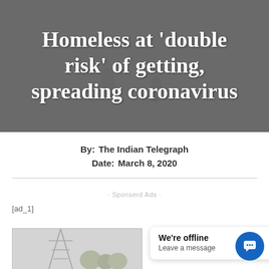[Figure (photo): Hero image with dark overlay showing outdoor scene, with large white serif title text overlay reading: Homeless at 'double risk' of getting, spreading coronavirus]
Homeless at 'double risk' of getting, spreading coronavirus
By: The Indian Telegraph
Date: March 8, 2020
· Sponserd Ads ·
[ad_1]
[Figure (photo): Partial image of a tower/antenna structure with trees]
We're offline
Leave a message